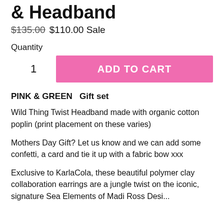& Headband
$135.00  $110.00 Sale
Quantity
1
ADD TO CART
PINK & GREEN  Gift set
Wild Thing Twist Headband made with organic cotton poplin (print placement on these varies)
Mothers Day Gift? Let us know and we can add some confetti, a card and tie it up with a fabric bow xxx
Exclusive to KarlaCola, these beautiful polymer clay collaboration earrings are a jungle twist on the iconic, signature Sea Elements of Madi Ross Desi...